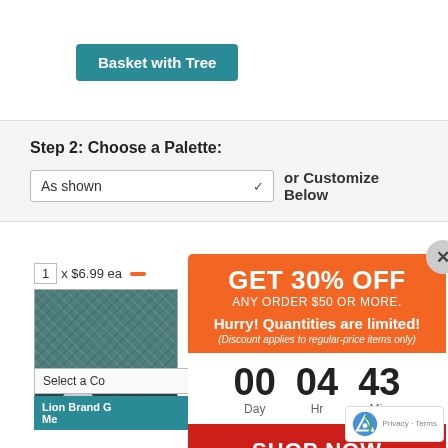Basket with Tree
Step 2: Choose a Palette:
As shown  ∨  or Customize Below
1  x $6.99 ea
[Figure (photo): Teal/dark green yarn swatch texture with CHANGE COLOR label]
Juniper
Select a Co
Lion Brand G Me
[Figure (infographic): Orange promotional popup: GET 30% OFF ANY ORDER $50 OR MORE. Hurry! Quantities are limited! (Discount applies to regular-price items only). Timer: 00 Day, 04 Hr, 43 Min. SHOP NOW button.]